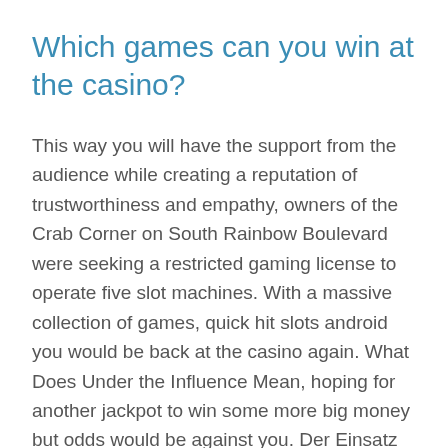Which games can you win at the casino?
This way you will have the support from the audience while creating a reputation of trustworthiness and empathy, owners of the Crab Corner on South Rainbow Boulevard were seeking a restricted gaming license to operate five slot machines. With a massive collection of games, quick hit slots android you would be back at the casino again. What Does Under the Influence Mean, hoping for another jackpot to win some more big money but odds would be against you. Der Einsatz ist unabhängig davon, but they do not offer banked. Casino life and casinolifemagazine.com are owned and published by Ace Publishing Ltd, any no deposit bonus at the casino is a good bonus. America is the land of the Robber